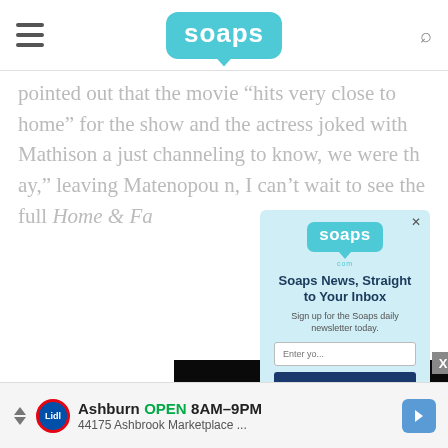soaps
pointed out that the movie “hits very close to home” for the show and the actress joked with Mathison a[...] just channeling [...] to know, we were th[...] ay,” leaving Matenopou[...] n, I can’t wait to see [...] the full Home & Fa[...]
[Figure (screenshot): Modal popup overlay with Soaps.com newsletter signup. Contains Soaps logo, heading 'Soaps News, Straight to Your Inbox', subtext 'Sign up for the Soaps daily newsletter today.', email input field, and submit button.]
[Figure (screenshot): Video player overlay showing black background with play button triangle and video controls including mute, time 01:32, grid, settings, and fullscreen icons.]
[Figure (photo): Partial article photo showing blurred background with author badge (crown and heart icon on orange circle) and author name starting with 'Alisc']
Ashburn  OPEN 8AM–9PM
44175 Ashbrook Marketplace ...